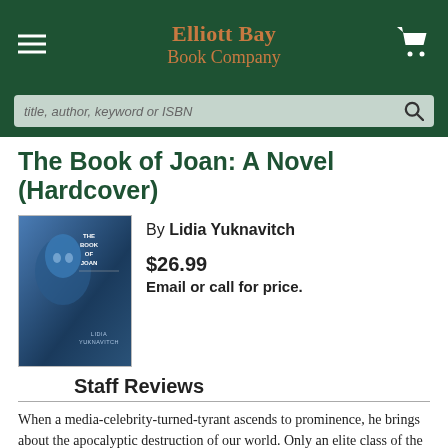Elliott Bay Book Company
The Book of Joan: A Novel (Hardcover)
By Lidia Yuknavitch
$26.99
Email or call for price.
Staff Reviews
When a media-celebrity-turned-tyrant ascends to prominence, he brings about the apocalyptic destruction of our world. Only an elite class of the human race is able to escape the catastrophic effects on our planet, fleeing to a pseudo-life on a space-station, where their individuality and sexuality are strictly regulated